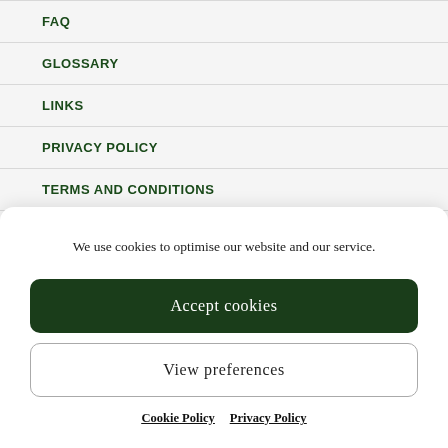FAQ
GLOSSARY
LINKS
PRIVACY POLICY
TERMS AND CONDITIONS
COOKIE POLICY (EU)
We use cookies to optimise our website and our service.
Accept cookies
View preferences
Cookie Policy  Privacy Policy